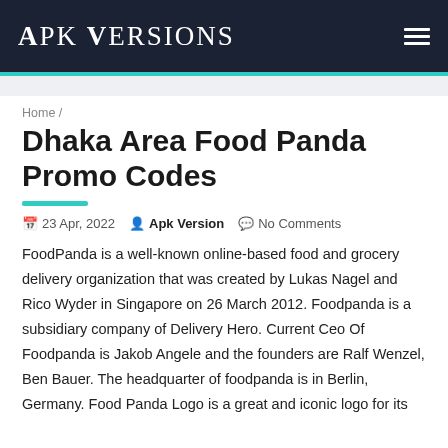APK VERSIONS
Home /
Dhaka Area Food Panda Promo Codes
23 Apr, 2022   Apk Version   No Comments
FoodPanda is a well-known online-based food and grocery delivery organization that was created by Lukas Nagel and Rico Wyder in Singapore on 26 March 2012. Foodpanda is a subsidiary company of Delivery Hero. Current Ceo Of Foodpanda is Jakob Angele and the founders are Ralf Wenzel, Ben Bauer. The headquarter of foodpanda is in Berlin, Germany. Food Panda Logo is a great and iconic logo for its presence. The present day logo for foodpanda has been to